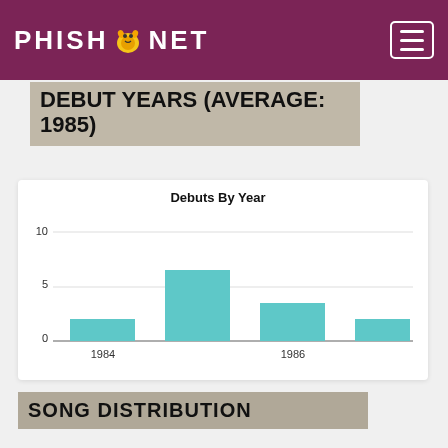PHISH.NET
DEBUT YEARS (AVERAGE: 1985)
[Figure (bar-chart): Debuts By Year]
SONG DISTRIBUTION
The White Tape 5
Junta 4